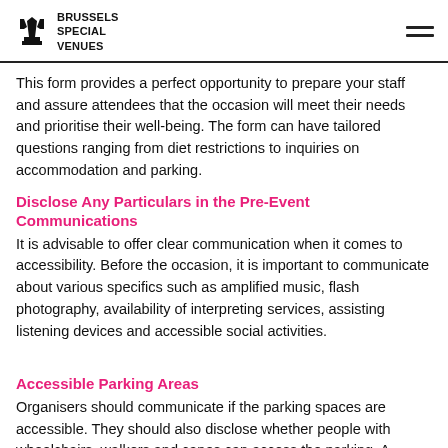BRUSSELS SPECIAL VENUES
This form provides a perfect opportunity to prepare your staff and assure attendees that the occasion will meet their needs and prioritise their well-being. The form can have tailored questions ranging from diet restrictions to inquiries on accommodation and parking.
Disclose Any Particulars in the Pre-Event Communications
It is advisable to offer clear communication when it comes to accessibility. Before the occasion, it is important to communicate about various specifics such as amplified music, flash photography, availability of interpreting services, assisting listening devices and accessible social activities.
Accessible Parking Areas
Organisers should communicate if the parking spaces are accessible. They should also disclose whether people with wheelchairs, walkers and canes can access the parking. A business should communicate if a person with fatigue or